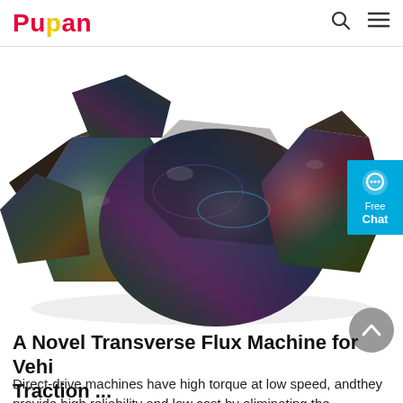Pupan
[Figure (photo): Photograph of dark iridescent metallic mineral/rock chunks with rainbow-colored surface reflections on white background]
A Novel Transverse Flux Machine for Vehi Traction ...
Direct-drive machines have high torque at low speed, andthey provide high reliability and low cost by eliminating the